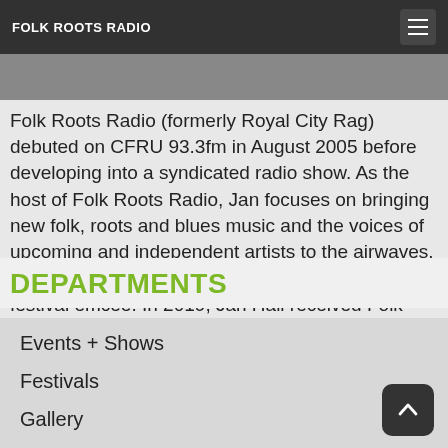FOLK ROOTS RADIO
Folk Roots Radio (formerly Royal City Rag) debuted on CFRU 93.3fm in August 2005 before developing into a syndicated radio show. As the host of Folk Roots Radio, Jan focuses on bringing new folk, roots and blues music and the voices of upcoming and independent artists to the airwaves. Jan is also a much sought after stage host and festival emcee. In 2019, Jan Hall received Folk Music Ontario's prestigious Estelle Klein Award for her contribution to Ontario's folk music community.
DEPARTMENTS
Events + Shows
Festivals
Gallery
Interviews
Livestreams
News
Quotable Quotes